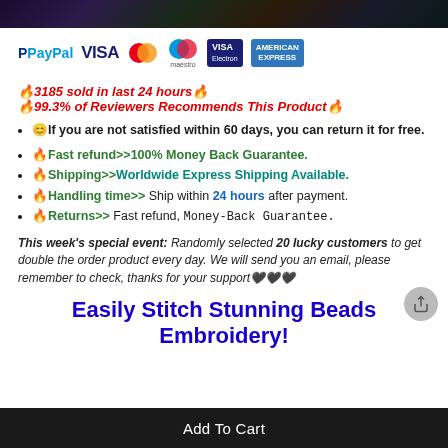[Figure (illustration): Top banner image with dark/colorful background (partial, cut off at top)]
[Figure (illustration): Payment logos strip: PayPal, VISA, Mastercard, Maestro, VISA Electron, American Express]
🔥3185 sold in last 24 hours🔥
🔥99.3% of Reviewers Recommends This Product🔥
😊If you are not satisfied within 60 days, you can return it for free.
🔥Fast refund>>100% Money Back Guarantee.
🔥Shipping>>Worldwide Express Shipping Available.
🔥Handling time>> Ship within 24 hours after payment.
🔥Returns>> Fast refund, Money-Back Guarantee.
This week's special event: Randomly selected 20 lucky customers to get double the order product every day. We will send you an email, please remember to check, thanks for your support🖤🖤🖤
Easily Stitch Stunning Beads Embroidery!
Add To Cart